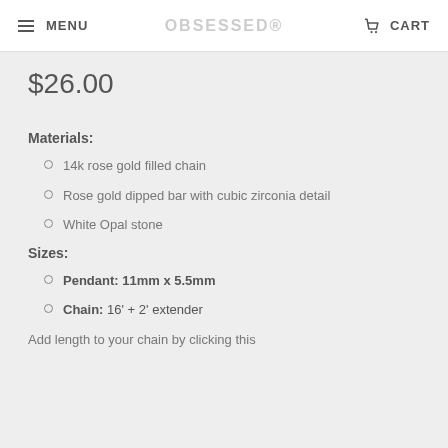MENU  OBSESSED  CART
$26.00
Materials:
14k rose gold filled chain
Rose gold dipped bar with cubic zirconia detail
White Opal stone
Sizes:
Pendant: 11mm x 5.5mm
Chain: 16' + 2' extender
Add length to your chain by clicking this